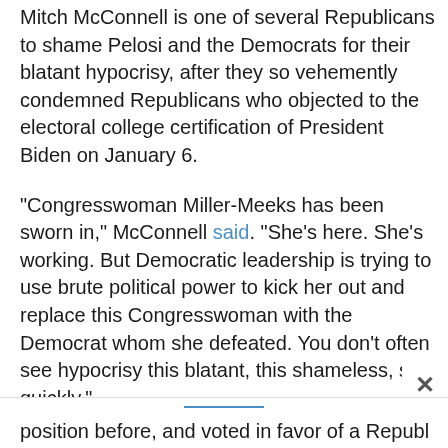Mitch McConnell is one of several Republicans to shame Pelosi and the Democrats for their blatant hypocrisy, after they so vehemently condemned Republicans who objected to the electoral college certification of President Biden on January 6.
"Congresswoman Miller-Meeks has been sworn in," McConnell said. "She's here. She's working. But Democratic leadership is trying to use brute political power to kick her out and replace this Congresswoman with the Democrat whom she defeated. You don't often see hypocrisy this blatant, this shameless, so quickly."
Pressed on the Democrats' partisan and apparent hypocritical attempt to unseat Miller-Meeks, Lofgre
position before, and voted in favor of a Republican